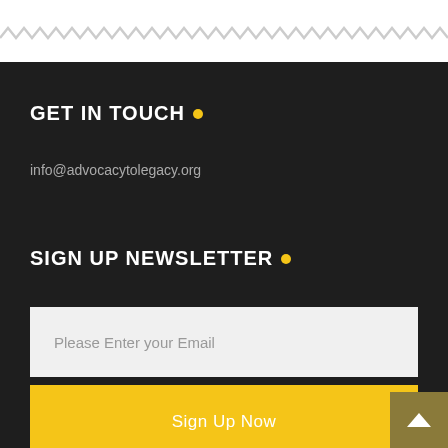[Figure (other): Zigzag/wavy decorative border line in light gray across white background]
GET IN TOUCH .
info@advocacytolegacy.org
SIGN UP NEWSLETTER .
Please Enter your Email
Sign Up Now